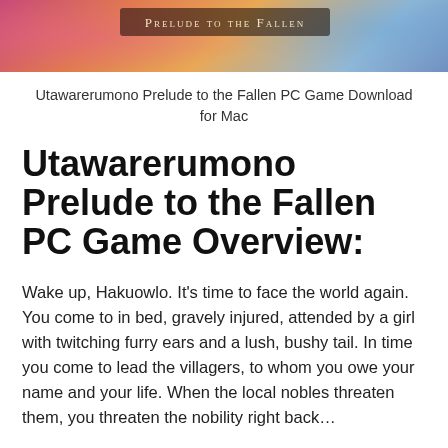[Figure (illustration): Banner image for Utawarerumono Prelude to the Fallen PC game with anime-style artwork and the text 'Prelude to the Fallen' overlaid]
Utawarerumono Prelude to the Fallen PC Game Download for Mac
Utawarerumono Prelude to the Fallen PC Game Overview:
Wake up, Hakuowlo. It’s time to face the world again. You come to in bed, gravely injured, attended by a girl with twitching furry ears and a lush, bushy tail. In time you come to lead the villagers, to whom you owe your name and your life. When the local nobles threaten them, you threaten the nobility right back…